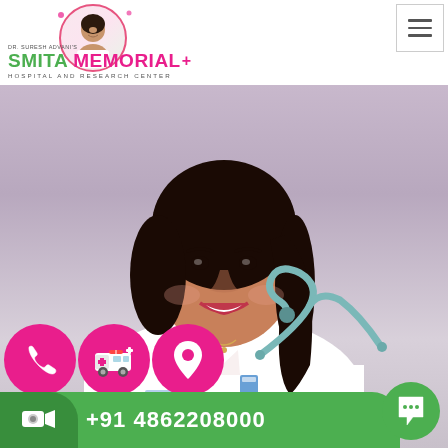[Figure (logo): Smita Memorial Hospital and Research Center logo with circular photo of female doctor, green and pink text]
[Figure (photo): Female doctor in white coat with stethoscope smiling, headshot/portrait photo]
[Figure (infographic): Bottom overlay with pink circle buttons (phone, ambulance, location icons), green bar with phone number +91 4862208000, video camera icon, and small green circle button on right]
+91 4862208000